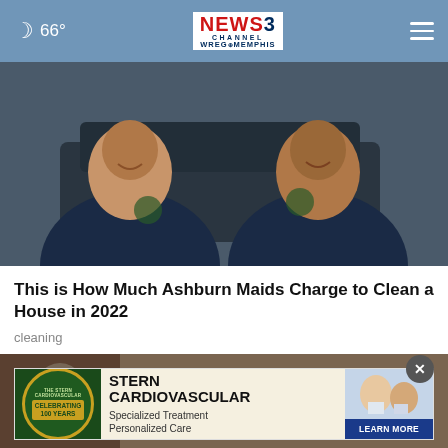66° NEWS CHANNEL 3 WREG MEMPHIS
[Figure (photo): Two people in dark navy uniforms smiling near a car — maids or cleaning service workers]
This is How Much Ashburn Maids Charge to Clean a House in 2022
cleaning
[Figure (photo): Interior photo partially visible]
[Figure (infographic): Stern Cardiovascular advertisement — Celebrating 100 Years, Specialized Treatment, Personalized Care — LEARN MORE button]